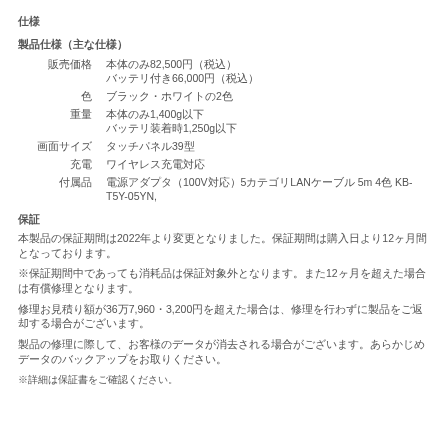仕様
製品仕様（主な仕様）
| 項目 | 内容 |
| --- | --- |
| 販売価格 | 本体のみ82,500円（税込）
バッテリ付き66,000円（税込） |
| 色 | ブラック・ホワイトの2色 |
| 重量 | 本体のみ1,400g以下
バッテリ装着時1,250g以下 |
| 画面サイズ | タッチパネル39型 |
| 充電 | ワイヤレス充電対応 |
| 付属品 | 電源アダプタ（100V対応）5カテゴリLANケーブル 5m 4色 KB-T5Y-05YN, |
保証
本製品の保証期間は2022年より変更となりました。保証期間は購入日より12ヶ月間となっております。
※保証期間中であっても消耗品は保証対象外となります。また12ヶ月を超えた場合は有償修理となります。
修理お見積り額が36万7,960・3,200円を超えた場合は、修理を行わずに製品をご返却する場合がございます。
製品の修理に際して、お客様のデータが消去される場合がございます。あらかじめデータのバックアップをお取りください。
※詳細は保証書をご確認ください。